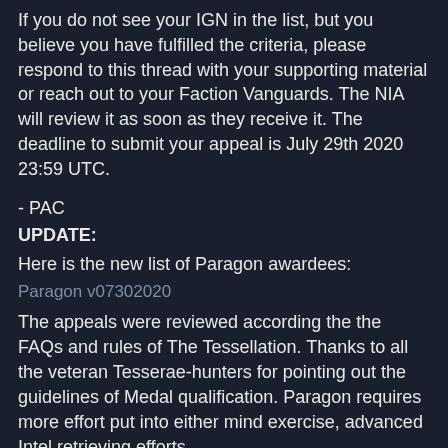If you do not see your IGN in the list, but you believe you have fulfilled the criteria, please respond to this thread with your supporting material or reach out to your Faction Vanguards. The NIA will review it as soon as they receive it. The deadline to submit your appeal is July 29th 2020 23:59 UTC.
- PAC
UPDATE:
Here is the new list of Paragon awardees:
Paragon v07302020
The appeals were reviewed according the the FAQs and rules of The Tessellation. Thanks to all the veteran Tesserae-hunters for pointing out the guidelines of Medal qualification. Paragon requires more effort put into either mind exercise, advanced Intel retrieving efforts,